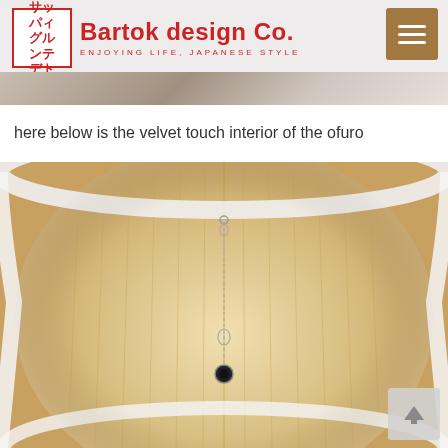Bartok design Co. — ENJOYING LIFE, JAPANESE STYLE
here below is the velvet touch interior of the ofuro
[Figure (photo): Interior view of a Japanese ofuro wooden bathtub, showing light-colored wood planks arranged in a circular pattern, with a metal drain chain and drain plug visible in the center bottom]
[Figure (other): Scroll-to-top button with upward arrow icon in bottom right corner]